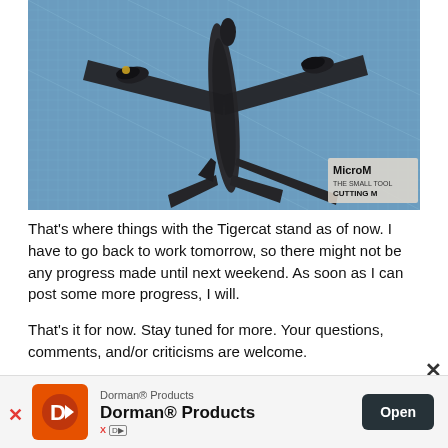[Figure (photo): Top-down view of a dark grey/black Tigercat airplane scale model sitting on a blue cutting mat (MicroMark brand). The model shows the twin-engine aircraft with wings spread, photographed from above.]
That's where things with the Tigercat stand as of now. I have to go back to work tomorrow, so there might not be any progress made until next weekend. As soon as I can post some more progress, I will.

That's it for now. Stay tuned for more. Your questions, comments, and/or criticisms are welcome.

Thanks for lookin'!
[Figure (infographic): Advertisement banner for Dorman® Products showing their logo (orange D icon on dark orange background) with text 'Dorman® Products' and an Open button on dark background. Also includes X close button and advertising disclosure icons.]